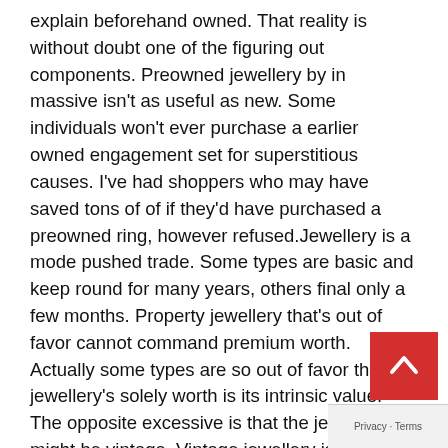explain beforehand owned. That reality is without doubt one of the figuring out components. Preowned jewellery by in massive isn't as useful as new. Some individuals won't ever purchase a earlier owned engagement set for superstitious causes. I've had shoppers who may have saved tons of of if they'd have purchased a preowned ring, however refused.Jewellery is a mode pushed trade. Some types are basic and keep round for many years, others final only a few months. Property jewellery that's out of favor cannot command premium worth. Actually some types are so out of favor that the jewellery's solely worth is its intrinsic value. The opposite excessive is that the jewellery might be vintage. Vintage jewellery is extremely collectible and should require a specialty choice to promote. Realizing in case your jewellery is simply previous and out of favor or an vintage can imply the distinction of tons of, if not hundreds of .Situation is a serious figuring out issue value obtained to your jewellery. Broken and damaged